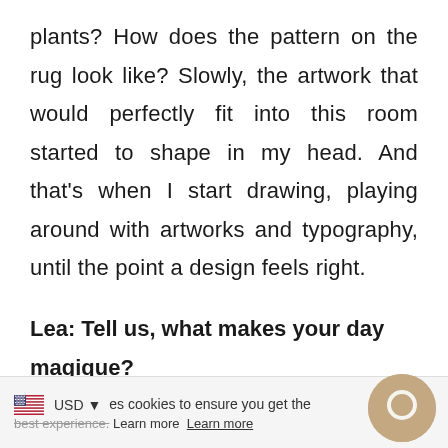plants? How does the pattern on the rug look like? Slowly, the artwork that would perfectly fit into this room started to shape in my head. And that's when I start drawing, playing around with artworks and typography, until the point a design feels right.
Lea: Tell us, what makes your day magique?
USD ▼  es cookies to ensure you get the best experience. Learn more  Learn more